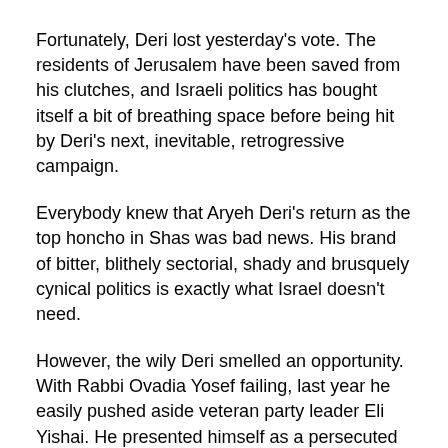Fortunately, Deri lost yesterday's vote. The residents of Jerusalem have been saved from his clutches, and Israeli politics has bought itself a bit of breathing space before being hit by Deri's next, inevitable, retrogressive campaign.
Everybody knew that Aryeh Deri's return as the top honcho in Shas was bad news. His brand of bitter, blithely sectorial, shady and brusquely cynical politics is exactly what Israel doesn't need.
However, the wily Deri smelled an opportunity. With Rabbi Ovadia Yosef failing, last year he easily pushed aside veteran party leader Eli Yishai. He presented himself as a persecuted Dreyfus and wronged Demjanjuk rolled into one, and as a holy man whose concern for the poor would bring salvation to the downtrodden of Israel.
Then, this fall, he launched his first assault on a Likud stronghold, by joining forces with Avigdor Lieberman in an attempt to capture the Jerusalem municipality through the straw-candidacy of Moshe Leon. Deri's purpose: to flex his muscles, and build alliances that would force Likud out of its current Knesset coalition. A victory in Jerusalem would crown